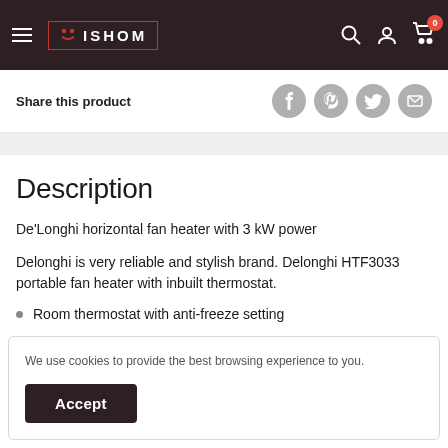ISHOM - navigation header with hamburger, logo, search, account, cart (0)
Share this product
Description
De'Longhi horizontal fan heater with 3 kW power
Delonghi is very reliable and stylish brand. Delonghi HTF3033 portable fan heater with inbuilt thermostat.
Room thermostat with anti-freeze setting
We use cookies to provide the best browsing experience to you. Accept